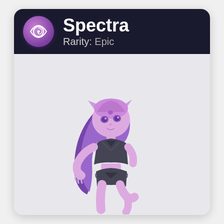Spectra
Rarity: Epic
[Figure (illustration): 3D rendered cartoon character named Spectra — a stylized female figure with long purple/pink hair, pointed ears, purple eyes, wearing dark grey armored top and shorts, in a dynamic posed stance against a light grey background.]